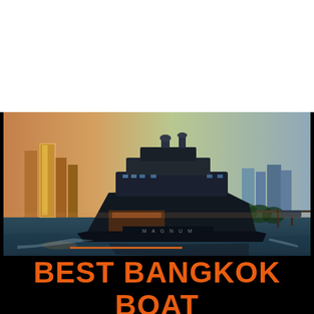[Figure (logo): Thai Boat Party circular logo with sunset and boat silhouette on orange/red background]
[Figure (other): Hamburger menu icon button in steel blue/gray color]
[Figure (photo): Large luxury yacht on water with Bangkok city skyline in background at dusk/sunset]
BEST BANGKOK BOAT RENTAL